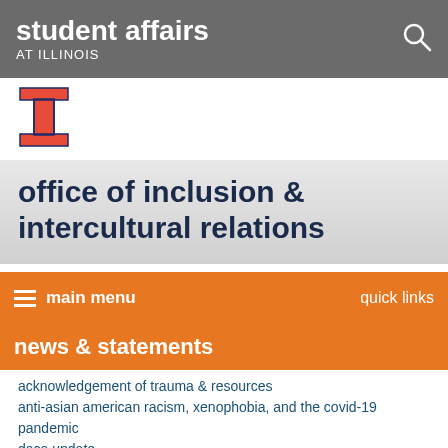student affairs AT ILLINOIS
[Figure (logo): University of Illinois block I logo in orange with blue outline]
office of inclusion & intercultural relations
main menu   quick links
news & statements
acknowledgement of trauma & resources
anti-asian american racism, xenophobia, and the covid-19 pandemic
daca update
oiir statement on jacob blake and trayford pellerin
oiir covid-19 update
ice modifications for international students
2020 supreme court decisions
civil unrest statement